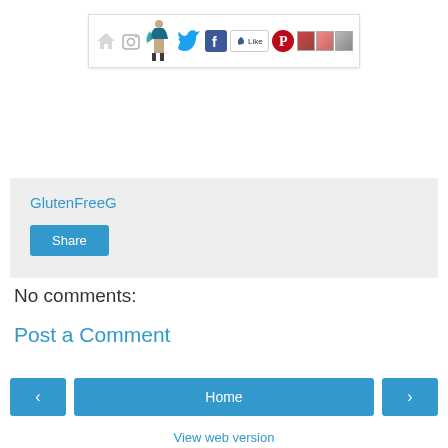[Figure (screenshot): Website navigation header bar with icons: home, camera/instagram, superhero figure, Twitter bird, Facebook 'f', Like button, Pinterest logo, and small food images]
GlutenFreeG
Share
No comments:
Post a Comment
< Home > View web version